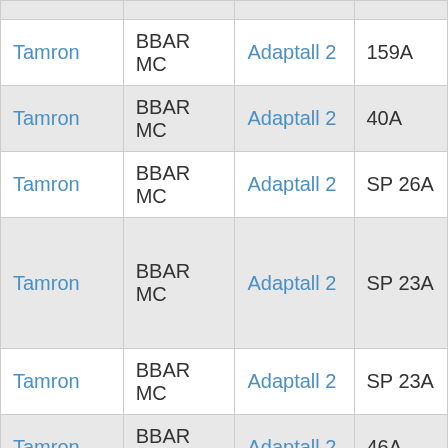| Brand | Series | System | Model |
| --- | --- | --- | --- |
| Tamron | BBAR MC | Adaptall 2 | 159A |
| Tamron | BBAR MC | Adaptall 2 | 40A |
| Tamron | BBAR MC | Adaptall 2 | SP 26A |
| Tamron | BBAR MC | Adaptall 2 | SP 23A |
| Tamron | BBAR MC | Adaptall 2 | SP 23A |
| Tamron | BBAR MC | Adaptall 2 | 46A |
| Tamron | BBAR MC | Adaptall 2 |  |